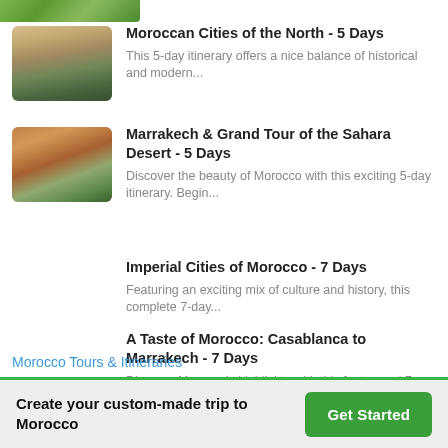[Figure (photo): Partial thumbnail of a Moroccan city/landscape at top left]
[Figure (photo): Thumbnail of a Moroccan hillside city with white buildings at sunset]
Moroccan Cities of the North - 5 Days
This 5-day itinerary offers a nice balance of historical and modern...
[Figure (photo): Thumbnail of Sahara desert landscape with orange rock formations]
Marrakech & Grand Tour of the Sahara Desert - 5 Days
Discover the beauty of Morocco with this exciting 5-day itinerary. Begin...
Imperial Cities of Morocco - 7 Days
Featuring an exciting mix of culture and history, this complete 7-day...
A Taste of Morocco: Casablanca to Marrakech - 7 Days
Discover Morocco's highlights with this fast-paced 7-day trip beginning...
Morocco Tours & Itineraries
Create your custom-made trip to Morocco